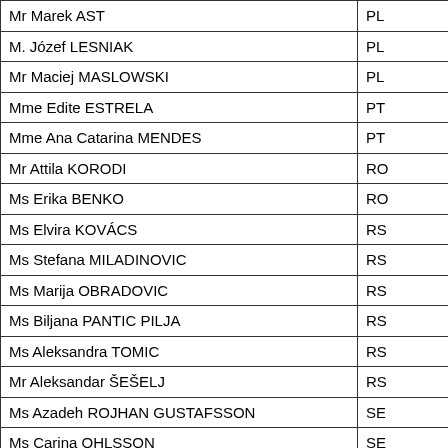| Name | Country |
| --- | --- |
| Mr Marek AST | PL |
| M. Józef LESNIAK | PL |
| Mr Maciej MASLOWSKI | PL |
| Mme Edite ESTRELA | PT |
| Mme Ana Catarina MENDES | PT |
| Mr Attila KORODI | RO |
| Ms Erika BENKO | RO |
| Ms Elvira KOVÁCS | RS |
| Ms Stefana MILADINOVIC | RS |
| Ms Marija OBRADOVIC | RS |
| Ms Biljana PANTIC PILJA | RS |
| Ms Aleksandra TOMIC | RS |
| Mr Aleksandar ŠEŠELJ | RS |
| Ms Azadeh ROJHAN GUSTAFSSON | SE |
| Ms Carina OHLSSON | SE |
| Mr Thomas HAMMARBERG | SE |
| Ms Boriana ÅBERG | SE |